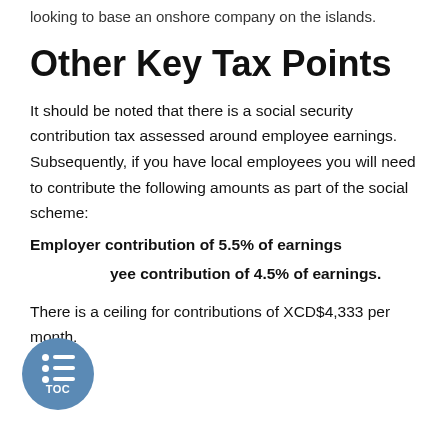looking to base an onshore company on the islands.
Other Key Tax Points
It should be noted that there is a social security contribution tax assessed around employee earnings. Subsequently, if you have local employees you will need to contribute the following amounts as part of the social scheme:
Employer contribution of 5.5% of earnings
Employee contribution of 4.5% of earnings.
There is a ceiling for contributions of XCD$4,333 per month.